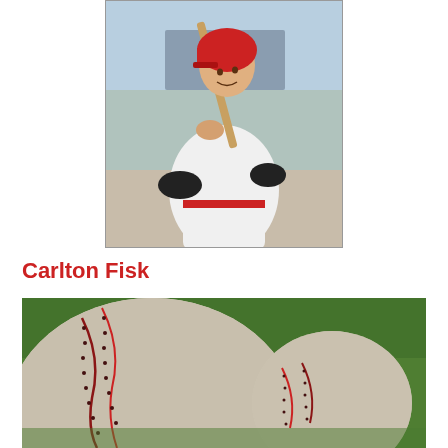[Figure (photo): Carlton Fisk in a white Red Sox uniform with red stripe, wearing a red batting helmet, holding a baseball bat in batting stance at a stadium.]
Carlton Fisk
[Figure (photo): Close-up photograph of two worn baseballs with red stitching lying on green grass, shot at a low angle.]